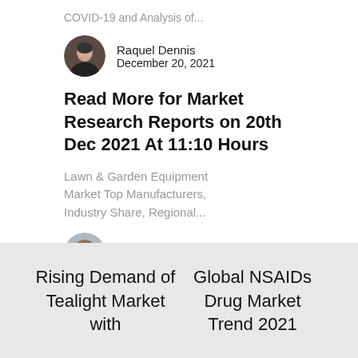COVID-19 and Analysis of...
[Figure (photo): Circular avatar photo of Raquel Dennis, a woman in a dark jacket]
Raquel Dennis
December 20, 2021
Read More for Market Research Reports on 20th Dec 2021 At 11:10 Hours
Lawn & Garden Equipment Market Top Manufacturers, Industry Share, Regional...
[Figure (photo): Circular avatar photo of Dennis Swanson, a man in a dark suit]
Dennis Swanson
December 20, 2021
Rising Demand of Tealight Market with
Global NSAIDs Drug Market Trend 2021